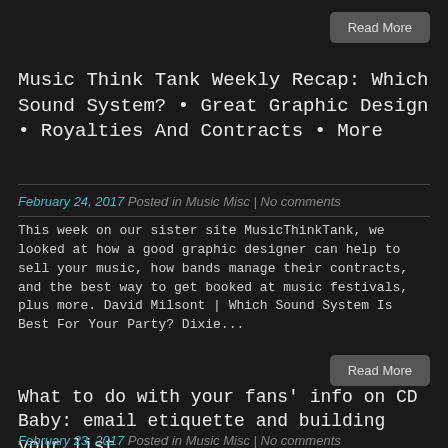Read More
Music Think Tank Weekly Recap: Which Sound System? • Great Graphic Design • Royalties And Contracts • More
February 24, 2017 Posted in Music Misc | No comments
This week on our sister site MusicThinkTank, we looked at how a good graphic designer can help to sell your music, how bands manage their contracts, and the best way to get booked at music festivals, plus more. David Milsont | Which Sound System Is Best For Your Party? Dixie...
Read More
What to do with your fans' info on CD Baby: email etiquette and building your list
February 23, 2017 Posted in Music Misc | No comments